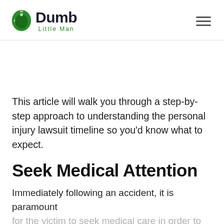[Figure (logo): Dumb Little Man logo with green puzzle-piece head icon and text 'Dumb Little Man']
This article will walk you through a step-by-step approach to understanding the personal injury lawsuit timeline so you'd know what to expect.
Seek Medical Attention
Immediately following an accident, it is paramount for the victim to seek medical care in order to minimize the severity of injuries. Whether it is...